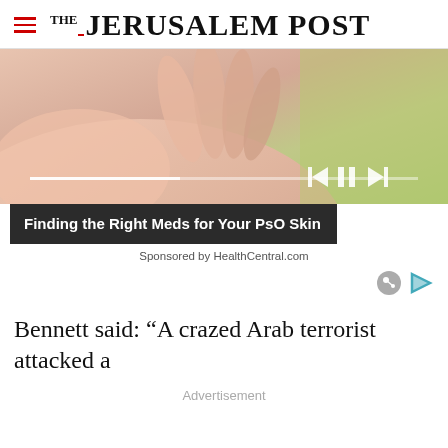THE JERUSALEM POST
[Figure (photo): Advertisement video player showing a close-up of a human hand with media controls (previous, pause, next) and a progress bar. Overlay title: Finding the Right Meds for Your PsO Skin. Sponsored by HealthCentral.com]
Sponsored by HealthCentral.com
Bennett said: “A crazed Arab terrorist attacked a
Advertisement